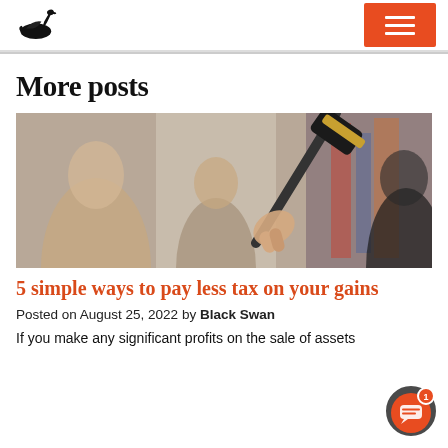Black Swan logo and navigation menu
More posts
[Figure (photo): Photo of people at an auction with a person holding a wooden gavel in the foreground, crowd blurred in the background]
5 simple ways to pay less tax on your gains
Posted on August 25, 2022 by Black Swan
If you make any significant profits on the sale of assets